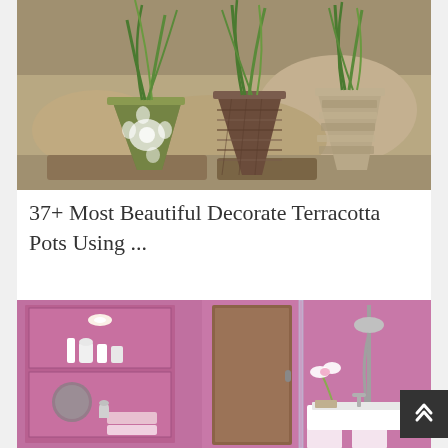[Figure (photo): Decorative terracotta pots with green grass plants, wrapped in burlap and wicker materials, placed on stone steps outdoors]
37+ Most Beautiful Decorate Terracotta Pots Using ...
[Figure (photo): Modern bathroom with pink/purple walls, built-in wall shelves with toiletries, a large mirror, white sink vanity, and glass shower area with shower fixture and white orchid flower]